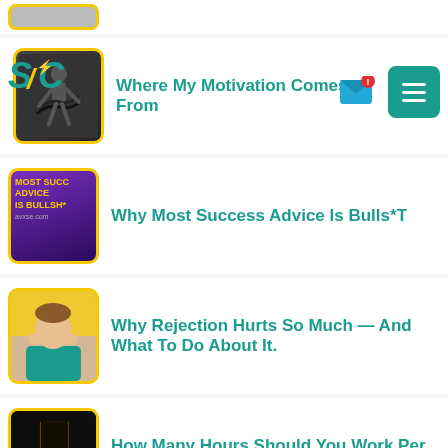[Figure (screenshot): Partially visible blog card at top of page]
[Figure (logo): S/C lightning bolt logo in teal with yellow accents]
Where My Motivation Comes From
[Figure (photo): Person doing battle ropes workout exercise]
Why Most Success Advice Is Bulls*T
[Figure (photo): Purple background with yellow text: MOST SUCCESS ADVICE IS BULLSH*T]
Why Rejection Hurts So Much — And What To Do About It.
[Figure (photo): Child with hands on face looking sad, rejection theme]
How Many Hours Should You Work Per Week?
[Figure (photo): Dark moody image of person working at desk at night]